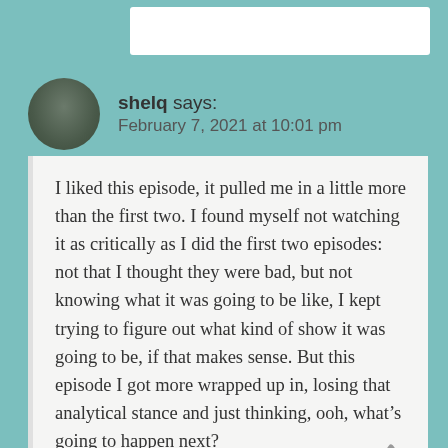[Figure (screenshot): Partial top bar from a webpage, white rectangle on teal background]
[Figure (photo): Circular avatar photo of a person standing outdoors]
shelq says: February 7, 2021 at 10:01 pm
I liked this episode, it pulled me in a little more than the first two. I found myself not watching it as critically as I did the first two episodes: not that I thought they were bad, but not knowing what it was going to be like, I kept trying to figure out what kind of show it was going to be, if that makes sense. But this episode I got more wrapped up in, losing that analytical stance and just thinking, ooh, what's going to happen next?
I would like more background about